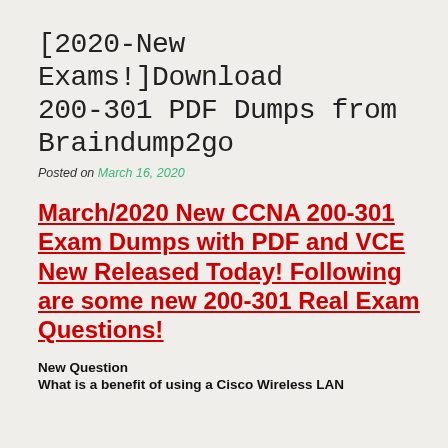[2020-New Exams!]Download 200-301 PDF Dumps from Braindump2go
Posted on March 16, 2020
March/2020 New CCNA 200-301 Exam Dumps with PDF and VCE New Released Today! Following are some new 200-301 Real Exam Questions!
New Question
What is a benefit of using a Cisco Wireless LAN